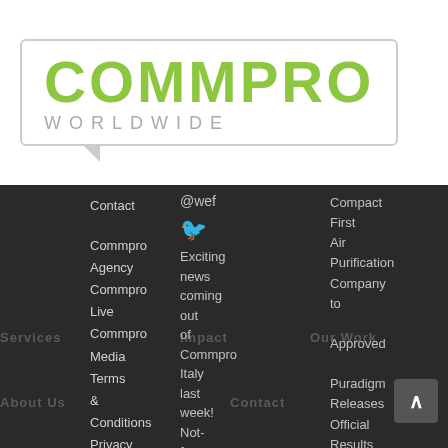[Figure (logo): COMMPRO WORLDWIDE logo in a speech bubble box. COMMPRO in large green bold letters, WORLDWIDE in smaller gray letters below with wide letter-spacing.]
Contact
Commpro Agency
Commpro Live
Services
Commpro Media
Terms & Conditions
Privacy Policy
About Us
@wef
Exciting news coming out of Commpro Italy last week! Not-for-profit initiative, Unite
Impact
Contact
Compact First Air Purification Company to
Our Work
Approved
Puradigm Releases Official Results of Infectious Disease